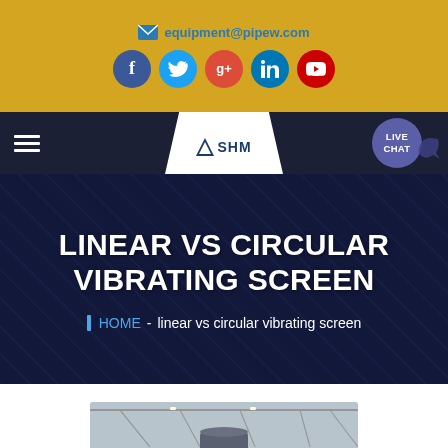equipment@pipew.com
[Figure (screenshot): Social media icons: Facebook, Twitter, Google+, LinkedIn, YouTube on golden background]
[Figure (logo): SHM logo in white trapezoid on dark navy navigation bar with hamburger menu and Live Chat bubble]
LINEAR VS CIRCULAR VIBRATING SCREEN
HOME - linear vs circular vibrating screen
[Figure (photo): Industrial equipment/vibrating screen inside a factory building with steel roof trusses]